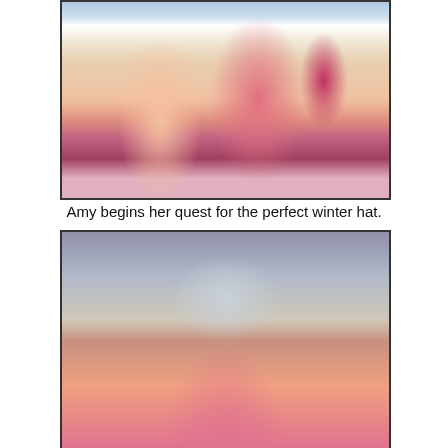[Figure (photo): Two women at an outdoor market looking at colorful hats and textiles. One woman in a white outfit, another in a pink hoodie with dark hair.]
Amy begins her quest for the perfect winter hat.
[Figure (photo): A smiling woman wearing a knit winter hat with ear flaps at an outdoor market, giving a thumbs up pose. She wears sunglasses and a pink tank top with a backpack.]
Is it this one?
[Figure (photo): Colorful novelty hats at a market stall, including character-themed hats in white, orange, and yellow/black stripes.]